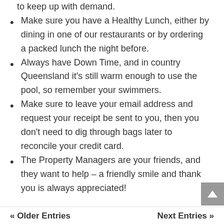to keep up with demand.
Make sure you have a Healthy Lunch, either by dining in one of our restaurants or by ordering a packed lunch the night before.
Always have Down Time, and in country Queensland it's still warm enough to use the pool, so remember your swimmers.
Make sure to leave your email address and request your receipt be sent to you, then you don't need to dig through bags later to reconcile your credit card.
The Property Managers are your friends, and they want to help – a friendly smile and thank you is always appreciated!
« Older Entries    Next Entries »